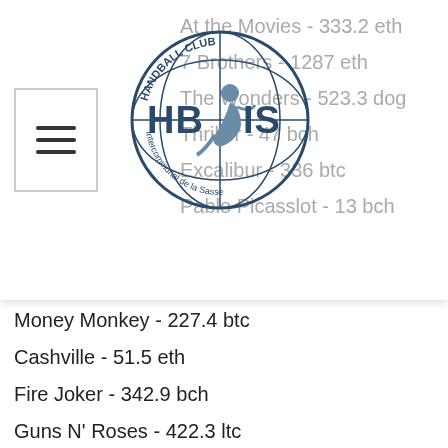At the Movies - 333.2 eth
7 Brothers - 1287 eth
The Wonders - 523.3 dog
Thriller - 47 bch
Excalibur - 336 btc
Pablo Picasslot - 13 bch
Money Monkey - 227.4 btc
Cashville - 51.5 eth
Fire Joker - 342.9 bch
Guns N' Roses - 422.3 ltc
Tokyo Hunter - 217.8 ltc
Mr.Vegas - 174.1 eth
Wheel of Cash - 11.9 ltc
Best Slots Games:
Bitcasino.io Ancient Magic
King Billy Casino Books and Bulls Red Hot Firepot
BitcoinCasino.us Robinson
mBTC free bet Apollo Rising